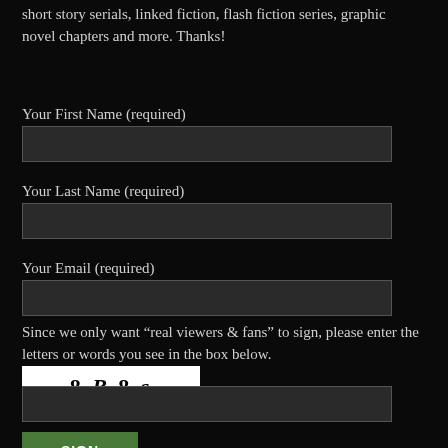short story serials, linked fiction, flash fiction series, graphic novel chapters and more. Thanks!
Your First Name (required)
Your Last Name (required)
Your Email (required)
Since we only want “real viewers & fans” to sign, please enter the letters or words you see in the box below.
[Figure (other): CAPTCHA image showing text '8 B 8 S' on white background]
SIGN